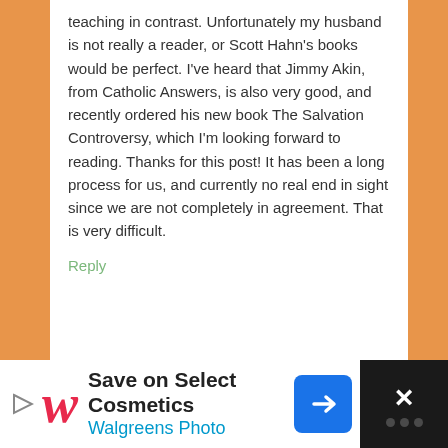teaching in contrast. Unfortunately my husband is not really a reader, or Scott Hahn's books would be perfect. I've heard that Jimmy Akin, from Catholic Answers, is also very good, and recently ordered his new book The Salvation Controversy, which I'm looking forward to reading. Thanks for this post! It has been a long process for us, and currently no real end in sight since we are not completely in agreement. That is very difficult.
Reply
Haley says
July 16, 2013 at 6:47 am
[Figure (photo): Avatar photo of commenter Haley, showing a woman with short reddish-brown hair and red lipstick]
I attended RCIA with my older brother when
[Figure (screenshot): Advertisement banner: Save on Select Cosmetics - Walgreens Photo]